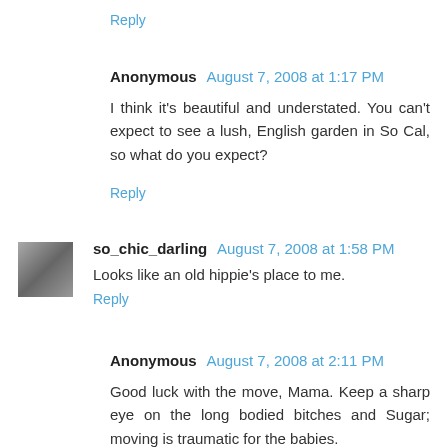Reply
Anonymous August 7, 2008 at 1:17 PM
I think it's beautiful and understated. You can't expect to see a lush, English garden in So Cal, so what do you expect?
Reply
so_chic_darling August 7, 2008 at 1:58 PM
Looks like an old hippie's place to me.
Reply
Anonymous August 7, 2008 at 2:11 PM
Good luck with the move, Mama. Keep a sharp eye on the long bodied bitches and Sugar; moving is traumatic for the babies.